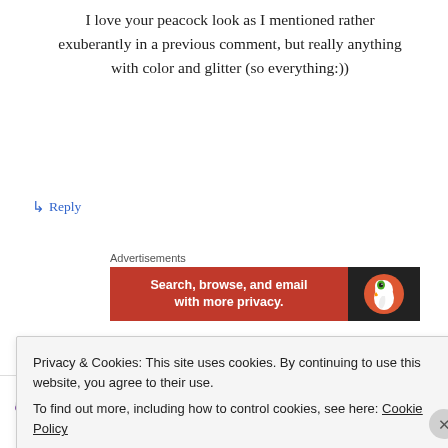I love your peacock look as I mentioned rather exuberantly in a previous comment, but really anything with color and glitter (so everything:))
↳ Reply
[Figure (other): DuckDuckGo advertisement banner: orange left section with white bold text 'Search, browse, and email with more privacy.' and dark right section with DuckDuckGo duck logo]
crystal walton on April 18, 2014 at 22:46
Privacy & Cookies: This site uses cookies. By continuing to use this website, you agree to their use.
To find out more, including how to control cookies, see here: Cookie Policy